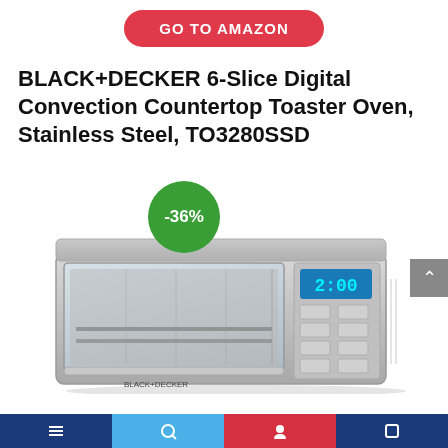[Figure (other): GO TO AMAZON red button]
BLACK+DECKER 6-Slice Digital Convection Countertop Toaster Oven, Stainless Steel, TO3280SSD
[Figure (photo): Product photo of BLACK+DECKER 6-Slice Digital Convection Countertop Toaster Oven in stainless steel with a -36% discount badge overlay and a blue digital display showing 2:00]